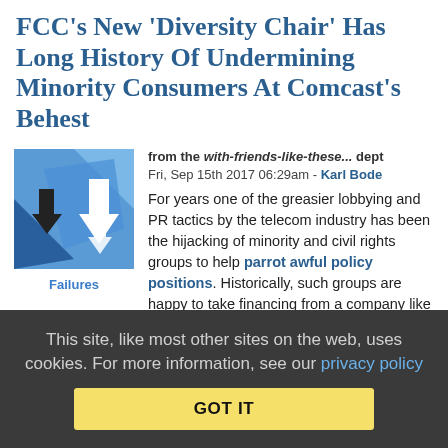FCC's New 'Diversity Chair' Has Long History Of Undermining Minority Consumers At Comcast's Behest
from the with-friends-like-these... dept
Fri, Sep 15th 2017 06:29am - Karl Bode
[Figure (illustration): Blue geometric illustration with downward trending arrows, labeled 'Failures' below]
For years one of the greasier lobbying and PR tactics by the telecom industry has been the hijacking of minority and civil rights groups to help parrot awful policy positions. Historically, such groups are happy to take financing from a company like Comcast, in exchange repeating whatever memos are thrust in their general direction — even if the policy dramatically harms their constituents. The tactic of creating or "co-opting" such groups helps foster the illusion of broad support for awful, anti-
This site, like most other sites on the web, uses cookies. For more information, see our privacy policy
GOT IT